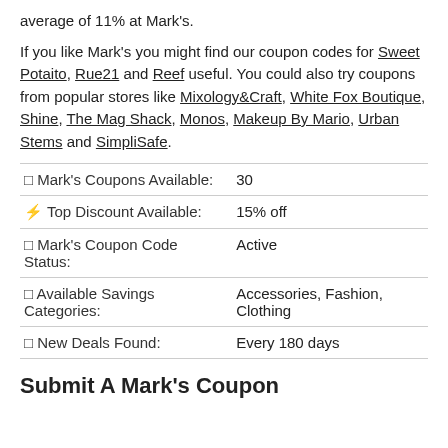average of 11% at Mark's.
If you like Mark's you might find our coupon codes for Sweet Potaito, Rue21 and Reef useful. You could also try coupons from popular stores like Mixology&Craft, White Fox Boutique, Shine, The Mag Shack, Monos, Makeup By Mario, Urban Stems and SimpliSafe.
| □ Mark's Coupons Available: | 30 |
| ⚡ Top Discount Available: | 15% off |
| □ Mark's Coupon Code Status: | Active |
| □ Available Savings Categories: | Accessories, Fashion, Clothing |
| □ New Deals Found: | Every 180 days |
Submit A Mark's Coupon